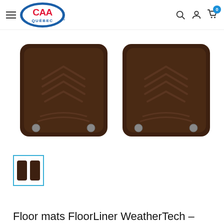CAA Québec — navigation header with hamburger menu, CAA Quebec logo, search, account, and cart icons
[Figure (photo): Two dark brown WeatherTech FloorLiner car floor mats shown side by side on white background, each mat has raised ridges and retention clips]
[Figure (photo): Small white thumbnail image of the floor mats, selected with teal/cyan border]
Floor mats FloorLiner WeatherTech –